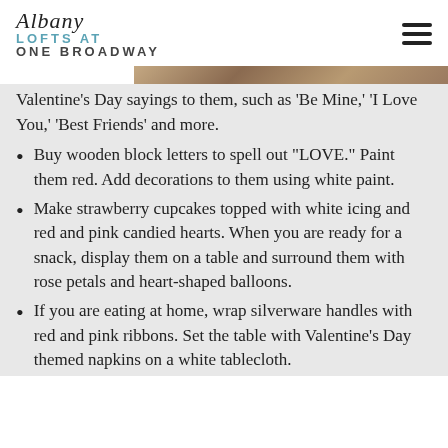Albany Lofts at One Broadway
[Figure (photo): Partial photo strip visible at top of content area]
Valentine's Day sayings to them, such as 'Be Mine,' 'I Love You,' 'Best Friends' and more.
Buy wooden block letters to spell out "LOVE." Paint them red. Add decorations to them using white paint.
Make strawberry cupcakes topped with white icing and red and pink candied hearts. When you are ready for a snack, display them on a table and surround them with rose petals and heart-shaped balloons.
If you are eating at home, wrap silverware handles with red and pink ribbons. Set the table with Valentine's Day themed napkins on a white tablecloth.